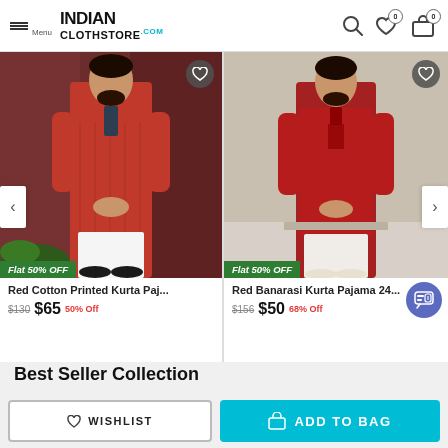Menu | INDIAN CLOTHSTORE.COM
[Figure (photo): Man wearing red cotton printed kurta pajama set against a brown curtain background]
[Figure (photo): Man wearing red Banarasi kurta pajama set against a beige background]
Red Cotton Printed Kurta Paj...
$130  $65  50% Off
Red Banarasi Kurta Pajama 24...
$156  $50  68% Off
Best Seller Collection
WISHLIST
ADD TO BAG